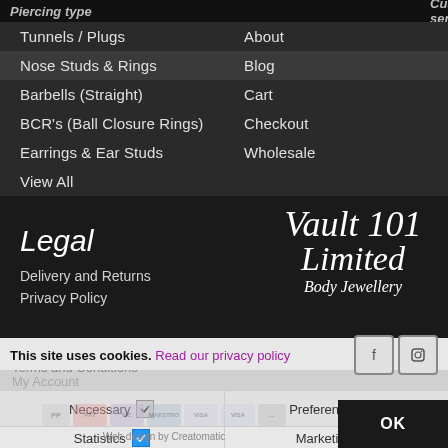Piercing type / Customer service
Tunnels / Plugs
Nose Studs & Rings
Barbells (Straight)
BCR's (Ball Closure Rings)
Earrings & Ear Studs
View All
About
Blog
Cart
Checkout
Wholesale
Legal
Delivery and Returns
Privacy Policy
Terms and Conditions
My Account
[Figure (logo): Vault 101 Limited Body Jewellery logo in white cursive script]
This site uses cookies. Read our privacy policy
Necessary [checked]    Preferences [unchecked]
Statistics [checked]   Marketing [unchecked]
[Figure (infographic): Payment method icons: PayPal, Mastercard, Maestro, Visa, Visa Debit and others]
Web design by Creatomatic
OK